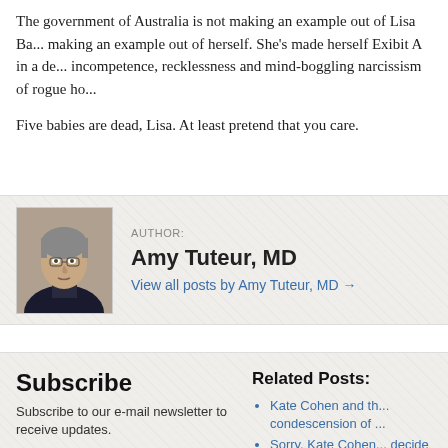The government of Australia is not making an example out of Lisa Ba... making an example out of herself. She's made herself Exibit A in a de... incompetence, recklessness and mind-boggling narcissism of rogue ho...
Five babies are dead, Lisa. At least pretend that you care.
[Figure (photo): Author photo of Amy Tuteur, MD — a woman with short grey hair.]
AUTHOR: Amy Tuteur, MD
View all posts by Amy Tuteur, MD →
Subscribe
Subscribe to our e-mail newsletter to receive updates.
[Figure (logo): RSS feed icon — orange square with white RSS symbol]
Related Posts:
Kate Cohen and th... condescension of ...
Sorry, Kate Cohen... decide what's femi...